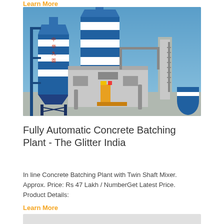Learn More
[Figure (photo): Fully automatic concrete batching plant with blue and white silos, steel framework, and industrial equipment against a clear blue sky.]
Fully Automatic Concrete Batching Plant - The Glitter India
In line Concrete Batching Plant with Twin Shaft Mixer. Approx. Price: Rs 47 Lakh / NumberGet Latest Price. Product Details:
Learn More